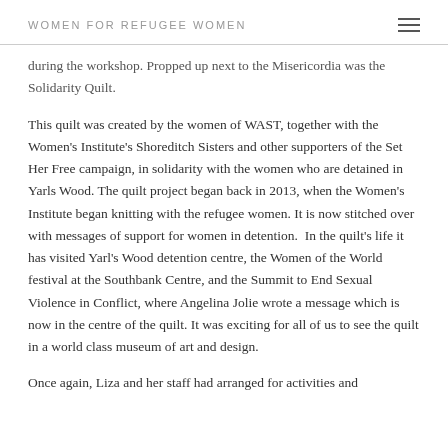WOMEN FOR REFUGEE WOMEN
during the workshop. Propped up next to the Misericordia was the Solidarity Quilt.
This quilt was created by the women of WAST, together with the Women's Institute's Shoreditch Sisters and other supporters of the Set Her Free campaign, in solidarity with the women who are detained in Yarls Wood. The quilt project began back in 2013, when the Women's Institute began knitting with the refugee women. It is now stitched over with messages of support for women in detention. In the quilt's life it has visited Yarl's Wood detention centre, the Women of the World festival at the Southbank Centre, and the Summit to End Sexual Violence in Conflict, where Angelina Jolie wrote a message which is now in the centre of the quilt. It was exciting for all of us to see the quilt in a world class museum of art and design.
Once again, Liza and her staff had arranged for activities and